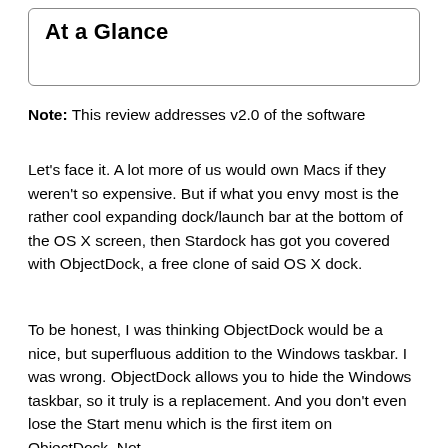At a Glance
Note: This review addresses v2.0 of the software
Let's face it. A lot more of us would own Macs if they weren't so expensive. But if what you envy most is the rather cool expanding dock/launch bar at the bottom of the OS X screen, then Stardock has got you covered with ObjectDock, a free clone of said OS X dock.
To be honest, I was thinking ObjectDock would be a nice, but superfluous addition to the Windows taskbar. I was wrong. ObjectDock allows you to hide the Windows taskbar, so it truly is a replacement. And you don't even lose the Start menu which is the first item on ObjectDock. Not